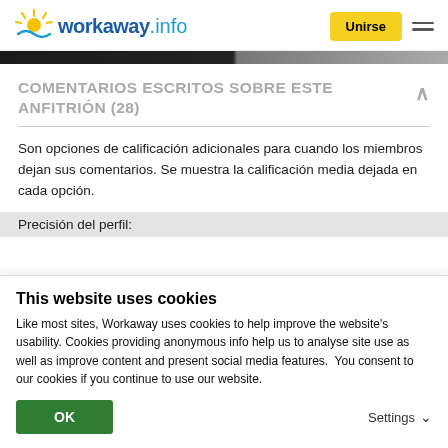workaway.info — Unirse
COMENTARIOS ESCRITOS SOBRE ESTE ANFITRIÓN (28)
Son opciones de calificación adicionales para cuando los miembros dejan sus comentarios. Se muestra la calificación media dejada en cada opción.
Precisión del perfil:
This website uses cookies
Like most sites, Workaway uses cookies to help improve the website's usability. Cookies providing anonymous info help us to analyse site use as well as improve content and present social media features.  You consent to our cookies if you continue to use our website.
OK   Settings